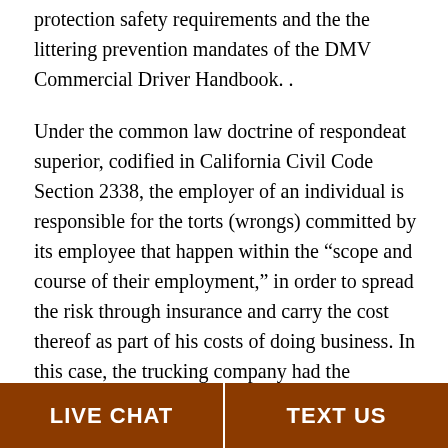protection safety requirements and the the littering prevention mandates of the DMV Commercial Driver Handbook. .
Under the common law doctrine of respondeat superior, codified in California Civil Code Section 2338, the employer of an individual is responsible for the torts (wrongs) committed by its employee that happen within the “scope and course of their employment,” in order to spread the risk through insurance and carry the cost thereof as part of his costs of doing business. In this case, the trucking company had the responsibility to make sure that the tomatoes were properly loaded. The cargo on the semi-truck should have been covered or in the alternative it should have been loaded with sufficient space below the upper edge of the semi-truck to prevent spillage. Clearly, the semi-truck driver and his employer did not follow the safety requirements as provided by
LIVE CHAT   TEXT US